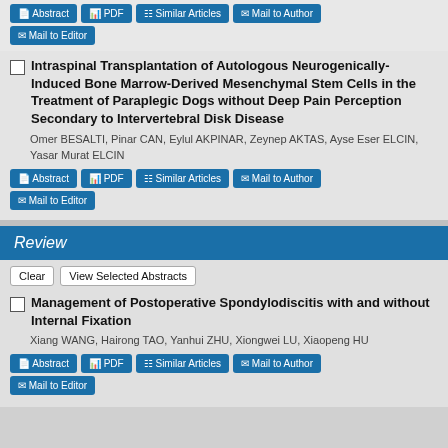[Figure (other): Button row: Abstract, PDF, Similar Articles, Mail to Author, Mail to Editor]
Intraspinal Transplantation of Autologous Neurogenically-Induced Bone Marrow-Derived Mesenchymal Stem Cells in the Treatment of Paraplegic Dogs without Deep Pain Perception Secondary to Intervertebral Disk Disease
Omer BESALTI, Pinar CAN, Eylul AKPINAR, Zeynep AKTAS, Ayse Eser ELCIN, Yasar Murat ELCIN
[Figure (other): Button row: Abstract, PDF, Similar Articles, Mail to Author, Mail to Editor]
Review
[Figure (other): Clear and View Selected Abstracts buttons]
Management of Postoperative Spondylodiscitis with and without Internal Fixation
Xiang WANG, Hairong TAO, Yanhui ZHU, Xiongwei LU, Xiaopeng HU
[Figure (other): Button row: Abstract, PDF, Similar Articles, Mail to Author]